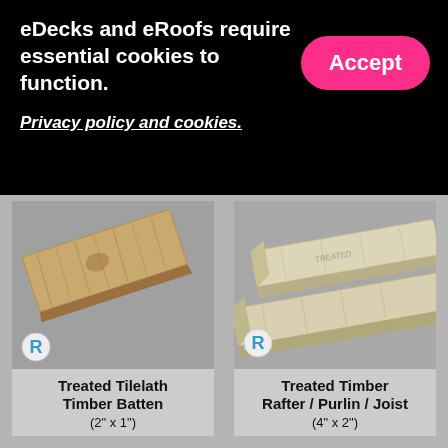eDecks and eRoofs require essential cookies to function.
Privacy policy and cookies.
[Figure (photo): Accept button (pink/magenta rounded rectangle)]
[Figure (photo): Product photo of Treated Tilelath Timber Batten (2 inch x 1 inch) - a light brown wooden plank on grey background with R logo badge]
Treated Tilelath Timber Batten (2" x 1")
[Figure (photo): Product photo of Treated Timber Rafter / Purlin / Joist (4 inch x 2 inch) - two pale timber lengths crossed on grey background with R logo badge]
Treated Timber Rafter / Purlin / Joist (4" x 2")